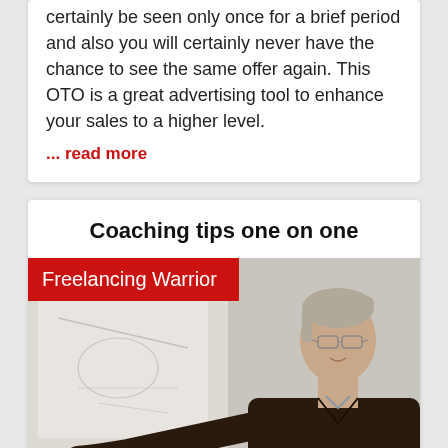certainly be seen only once for a brief period and also you will certainly never have the chance to see the same offer again. This OTO is a great advertising tool to enhance your sales to a higher level.
... read more
Coaching tips one on one
[Figure (photo): A man in a dark sweater wearing glasses pointing at something off-screen to the left, with a whiteboard partially visible, with a red 'Freelancing Warrior' label overlay in the top-left corner.]